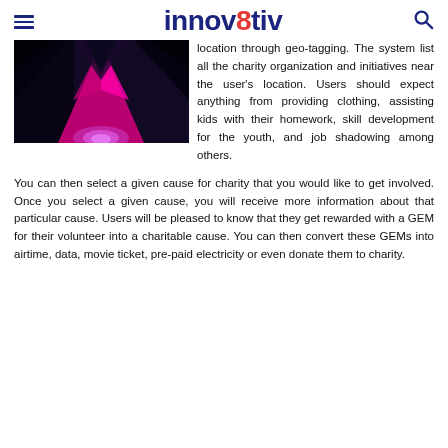innov8tiv
[Figure (photo): Abstract colorful image with pink/magenta triangular shapes on dark background with glowing orb at bottom]
location through geo-tagging. The system list all the charity organization and initiatives near the user's location. Users should expect anything from providing clothing, assisting kids with their homework, skill development for the youth, and job shadowing among others.
You can then select a given cause for charity that you would like to get involved. Once you select a given cause, you will receive more information about that particular cause. Users will be pleased to know that they get rewarded with a GEM for their volunteer into a charitable cause. You can then convert these GEMs into airtime, data, movie ticket, pre-paid electricity or even donate them to charity.